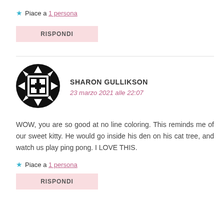★ Piace a 1 persona
RISPONDI
[Figure (illustration): Black and white circular avatar icon with geometric pattern design]
SHARON GULLIKSON
23 marzo 2021 alle 22:07
WOW, you are so good at no line coloring. This reminds me of our sweet kitty. He would go inside his den on his cat tree, and watch us play ping pong. I LOVE THIS.
★ Piace a 1 persona
RISPONDI